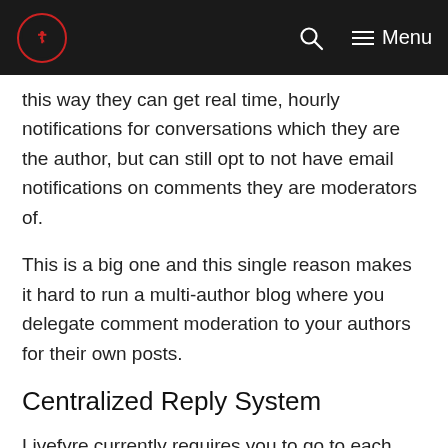Menu
this way they can get real time, hourly notifications for conversations which they are the author, but can still opt to not have email notifications on comments they are moderators of.
This is a big one and this single reason makes it hard to run a multi-author blog where you delegate comment moderation to your authors for their own posts.
Centralized Reply System
Livefyre currently requires you to go to each one of your blog posts where a comment was left and leave a comment manually within each blog